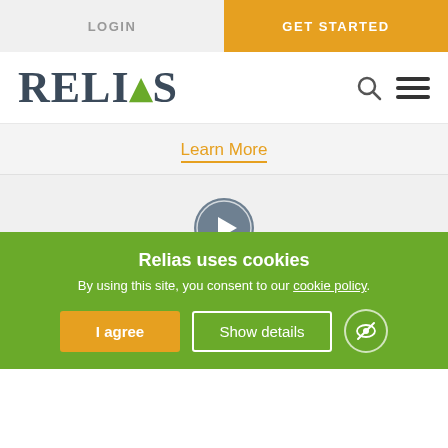LOGIN | GET STARTED
[Figure (logo): Relias logo with green arrow replacing the letter A, search icon and hamburger menu on the right]
Learn More
[Figure (other): Circular play button icon (gray)]
WEBINAR
BACB Changes for Supervisors: What You Need to Know
Relias uses cookies
By using this site, you consent to our cookie policy.
I agree | Show details